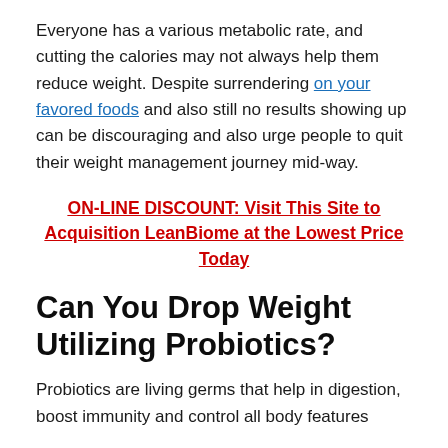Everyone has a various metabolic rate, and cutting the calories may not always help them reduce weight. Despite surrendering on your favored foods and also still no results showing up can be discouraging and also urge people to quit their weight management journey mid-way.
ON-LINE DISCOUNT: Visit This Site to Acquisition LeanBiome at the Lowest Price Today
Can You Drop Weight Utilizing Probiotics?
Probiotics are living germs that help in digestion, boost immunity and control all body features